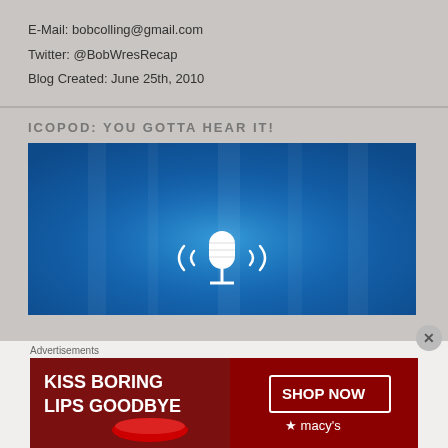E-Mail: bobcolling@gmail.com
Twitter: @BobWresRecap
Blog Created: June 25th, 2010
ICOPOD: YOU GOTTA HEAR IT!
[Figure (photo): Blue gradient podcast image with white microphone icon and sound wave lines]
Advertisements
[Figure (photo): Macy's advertisement: KISS BORING LIPS GOODBYE with woman's face and red lips, SHOP NOW button, Macy's logo with star]